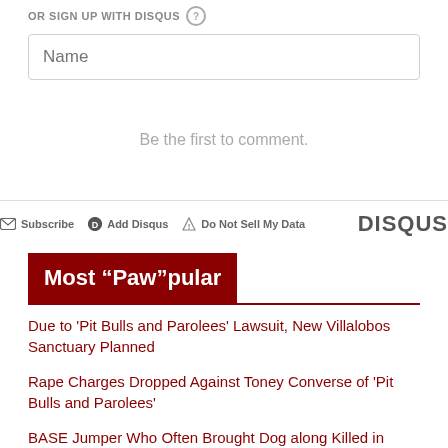OR SIGN UP WITH DISQUS (?)
Name
Be the first to comment.
Subscribe   Add Disqus   Do Not Sell My Data   DISQUS
Most “Paw”pular
Due to 'Pit Bulls and Parolees' Lawsuit, New Villalobos Sanctuary Planned
Rape Charges Dropped Against Toney Converse of 'Pit Bulls and Parolees'
BASE Jumper Who Often Brought Dog along Killed in Accident
Baby Deer Sales Person is Body in the Swamp; Read Ad Who Did It